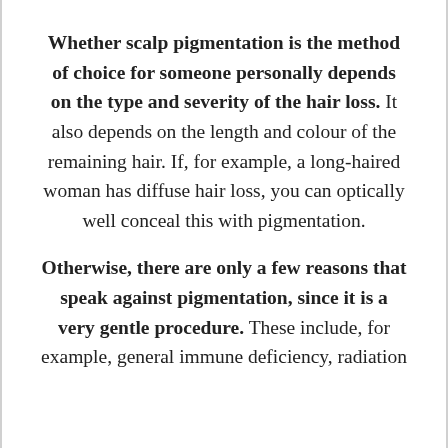Whether scalp pigmentation is the method of choice for someone personally depends on the type and severity of the hair loss. It also depends on the length and colour of the remaining hair. If, for example, a long-haired woman has diffuse hair loss, you can optically well conceal this with pigmentation.
Otherwise, there are only a few reasons that speak against pigmentation, since it is a very gentle procedure. These include, for example, general immune deficiency, radiation